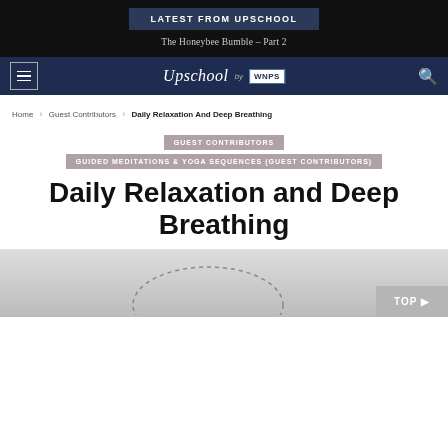LATEST FROM UPSCHOOL
The Honeybee Bumble – Part 2
[Figure (logo): Upschool by WNPS logo on dark navy navigation bar]
Home > Guest Contributors > Daily Relaxation And Deep Breathing
GUEST CONTRIBUTORS
GUIDED MEDITATIONS & YOGA SEQUENCES (GUEST CONTRIBUTORS)
Daily Relaxation and Deep Breathing
[Figure (photo): Partial image at bottom of page showing a person meditating with a dotted circle overlay]